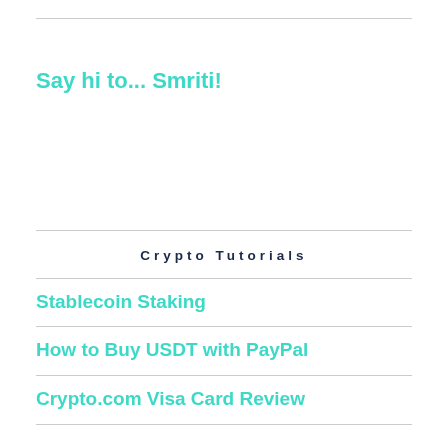Say hi to... Smriti!
Crypto Tutorials
Stablecoin Staking
How to Buy USDT with PayPal
Crypto.com Visa Card Review
Best Crypto Debit Card
Crypto Compound Interest